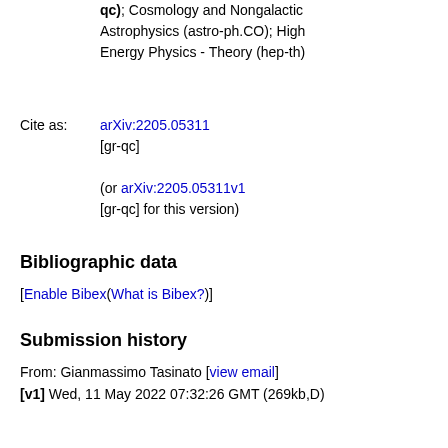qc); Cosmology and Nongalactic Astrophysics (astro-ph.CO); High Energy Physics - Theory (hep-th)
Cite as: arXiv:2205.05311 [gr-qc]
(or arXiv:2205.05311v1 [gr-qc] for this version)
Bibliographic data
[Enable Bibex(What is Bibex?)]
Submission history
From: Gianmassimo Tasinato [view email]
[v1] Wed, 11 May 2022 07:32:26 GMT (269kb,D)